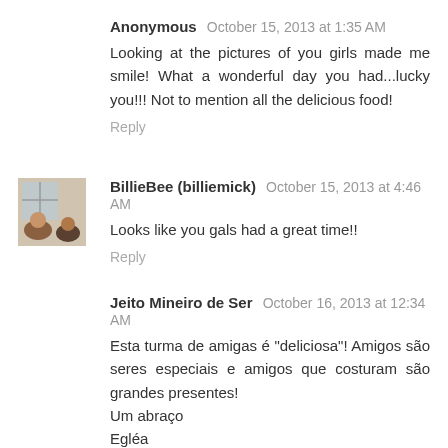Anonymous  October 15, 2013 at 1:35 AM
Looking at the pictures of you girls made me smile! What a wonderful day you had...lucky you!!! Not to mention all the delicious food!
Reply
[Figure (photo): Avatar photo of BillieBee showing two people]
BillieBee (billiemick)  October 15, 2013 at 4:46 AM
Looks like you gals had a great time!!
Reply
Jeito Mineiro de Ser  October 16, 2013 at 12:34 AM
Esta turma de amigas é "deliciosa"! Amigos são seres especiais e amigos que costuram são grandes presentes! Um abraço Egléa
This group of friends is "delicious"! Friends are special